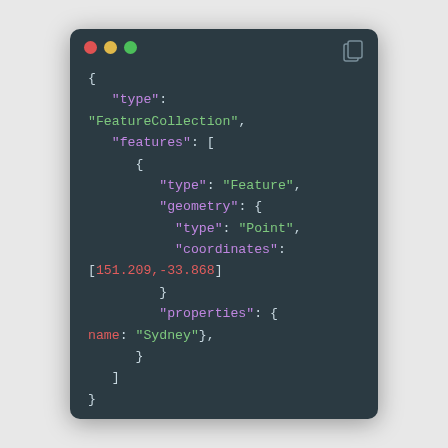[Figure (screenshot): A code editor window showing a GeoJSON FeatureCollection with a single Feature containing a Point geometry at coordinates [151.209, -33.868] and properties with name: 'Sydney'. The window has a dark background (#2b3a42) with macOS-style traffic light buttons (red, yellow, green) and a copy icon.]